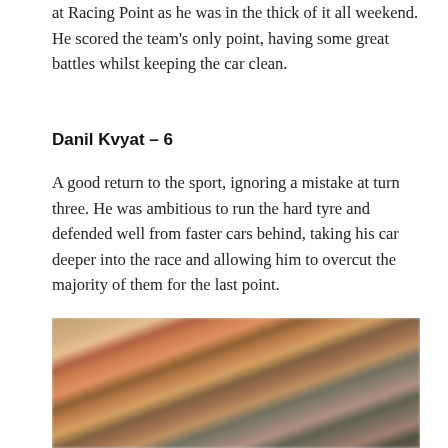at Racing Point as he was in the thick of it all weekend. He scored the team's only point, having some great battles whilst keeping the car clean.
Danil Kvyat – 6
A good return to the sport, ignoring a mistake at turn three. He was ambitious to run the hard tyre and defended well from faster cars behind, taking his car deeper into the race and allowing him to overcut the majority of them for the last point.
[Figure (photo): Blurred action photograph of a Formula 1 race, showing motion-blurred cars and track scenery in warm orange, red, and grey tones.]